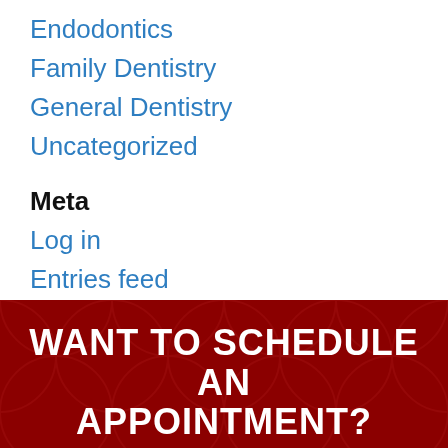Endodontics
Family Dentistry
General Dentistry
Uncategorized
Meta
Log in
Entries feed
Comments feed
WordPress.org
WANT TO SCHEDULE AN APPOINTMENT?